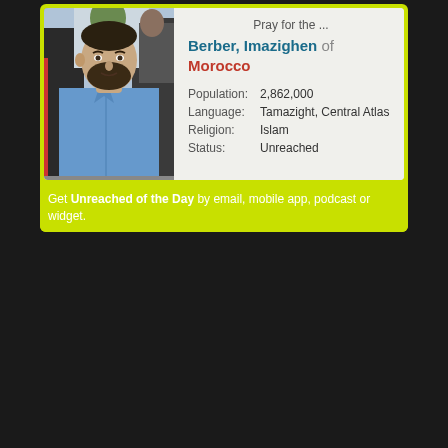Pray for the ...
Berber, Imazighen of Morocco
| Population: | 2,862,000 |
| Language: | Tamazight, Central Atlas |
| Religion: | Islam |
| Status: | Unreached |
[Figure (photo): Photo of a bearded man in a light blue shirt surrounded by other people]
Get Unreached of the Day by email, mobile app, podcast or widget.